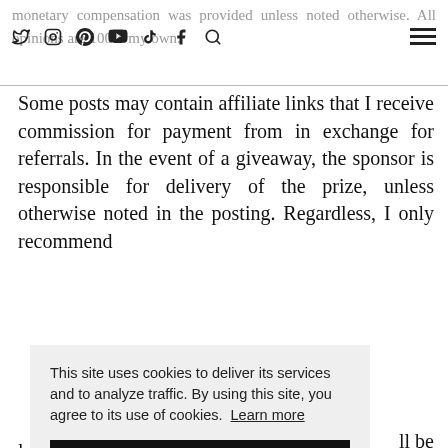monetary compensation was provided unless noted otherwise. All opinions are 100% my own.
Some posts may contain affiliate links that I receive commission for payment from in exchange for referrals. In the event of a giveaway, the sponsor is responsible for delivery of the prize, unless otherwise noted in the posting. Regardless, I only recommend [products...] ll be a[...] is in a[...] rade (...) ides (...) and ...
This site uses cookies to deliver its services and to analyze traffic. By using this site, you agree to its use of cookies. Learn more